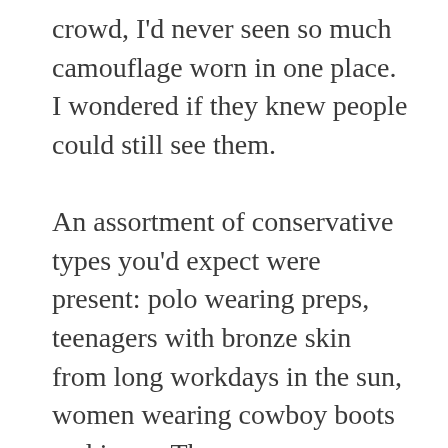crowd, I'd never seen so much camouflage worn in one place. I wondered if they knew people could still see them.

An assortment of conservative types you'd expect were present: polo wearing preps, teenagers with bronze skin from long workdays in the sun, women wearing cowboy boots and jeans. There were even a few you wouldn't expect: local college kids with a confederate flag in one hand and a Toni Morrison novel in the other. Regardless, the majority was certainly held